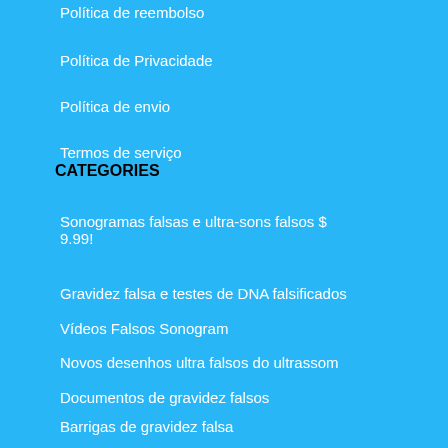Política de reembolso
Política de Privacidade
Política de envio
Termos de serviço
CATEGORIES
Sonogramas falsas e ultra-sons falsos $ 9.99!
Gravidez falsa e testes de DNA falsificados
Vídeos Falsos Sonogram
Novos desenhos ultra falsos do ultrassom
Documentos de gravidez falsos
Barrigas de gravidez falsa
Termos de serviço